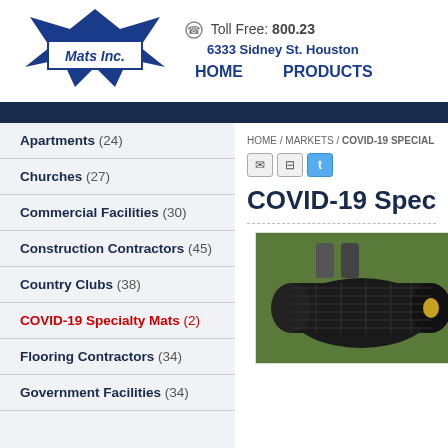[Figure (logo): Mats Inc. logo — blue star/ribbon shape with 'Mats Inc.' text in a box]
Toll Free: 800.23
6333 Sidney St. Houston
HOME    PRODUCTS
Apartments (24)
Churches (27)
Commercial Facilities (30)
Construction Contractors (45)
Country Clubs (38)
COVID-19 Specialty Mats (2)
Flooring Contractors (34)
Government Facilities (34)
HOME / MARKETS / COVID-19 SPECIAL
COVID-19 Specia
[Figure (photo): Black rolled mat/grid material on grass]